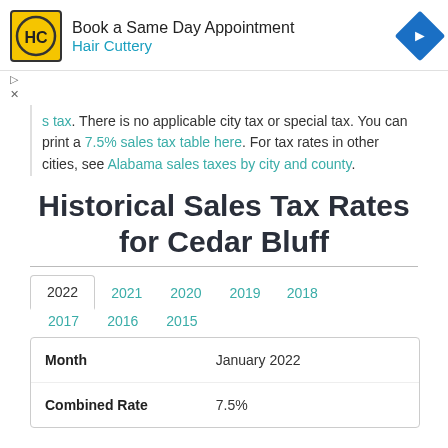[Figure (other): Hair Cuttery advertisement banner with logo and arrow icon]
s tax. There is no applicable city tax or special tax. You can print a 7.5% sales tax table here. For tax rates in other cities, see Alabama sales taxes by city and county.
Historical Sales Tax Rates for Cedar Bluff
Year tabs: 2022 (active), 2021, 2020, 2019, 2018, 2017, 2016, 2015
| Month | January 2022 |
| --- | --- |
| Combined Rate | 7.5% |